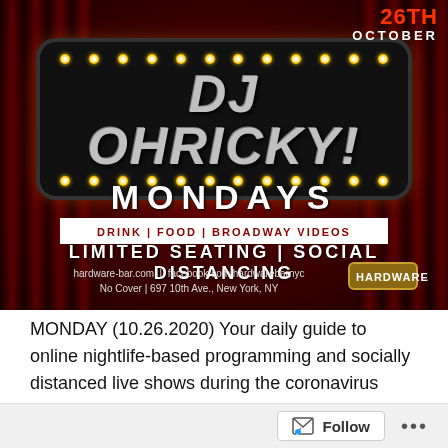[Figure (photo): Promotional poster for DJ OhRicky Mondays at Hardware Bar NYC. Dark red curtain background with marquee sign reading 'DJ OHRICKY!' and text showing '26th October', 'MONDAYS', 'DRINK | FOOD | BROADWAY VIDEOS', 'LIMITED SEATING | SOCIAL DISTANCING', website info, and Hardware Bar logo.]
MONDAY (10.26.2020) Your daily guide to online nightlife-based programming and socially distanced live shows during the coronavirus quarantine. (EST) LIVESTREAMS FACEBOOK: The Golden Boys AMG (host) (Part 2...